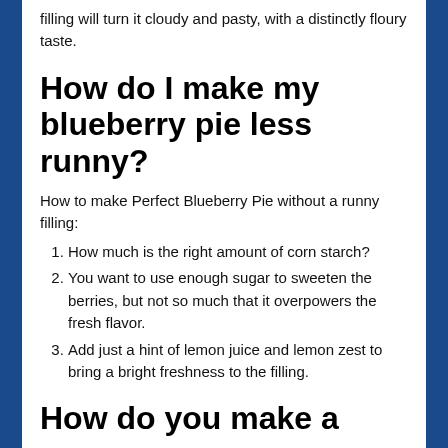filling will turn it cloudy and pasty, with a distinctly floury taste.
How do I make my blueberry pie less runny?
How to make Perfect Blueberry Pie without a runny filling:
How much is the right amount of corn starch?
You want to use enough sugar to sweeten the berries, but not so much that it overpowers the fresh flavor.
Add just a hint of lemon juice and lemon zest to bring a bright freshness to the filling.
How do you make a